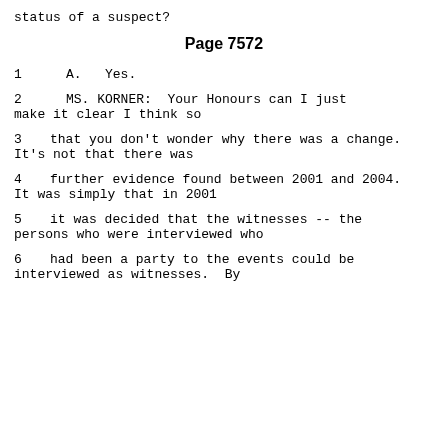status of a suspect?
Page 7572
1    A.   Yes.
2         MS. KORNER:  Your Honours can I just make it clear I think so
3     that you don't wonder why there was a change. It's not that there was
4     further evidence found between 2001 and 2004. It was simply that in 2001
5     it was decided that the witnesses -- the persons who were interviewed who
6     had been a party to the events could be interviewed as witnesses.  By